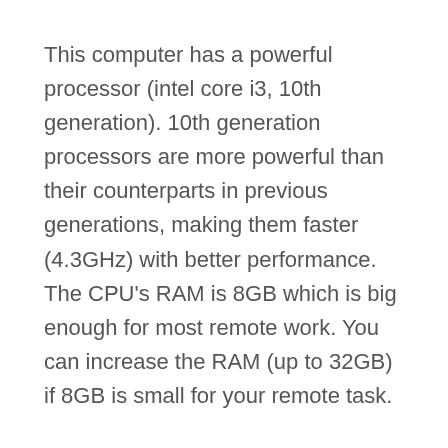This computer has a powerful processor (intel core i3, 10th generation). 10th generation processors are more powerful than their counterparts in previous generations, making them faster (4.3GHz) with better performance. The CPU's RAM is 8GB which is big enough for most remote work. You can increase the RAM (up to 32GB) if 8GB is small for your remote task.
Acer Aspire features 8 USB ports placed strategically for easy access (2 front and six rear ports). As a result, you can plug in many peripheral devices without worrying about port availability or